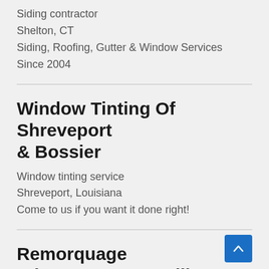Siding contractor
Shelton, CT
Siding, Roofing, Gutter & Window Services Since 2004
Window Tinting Of Shreveport & Bossier
Window tinting service
Shreveport, Louisiana
Come to us if you want it done right!
Remorquage Dépannage Auto Lille 59
Towing service